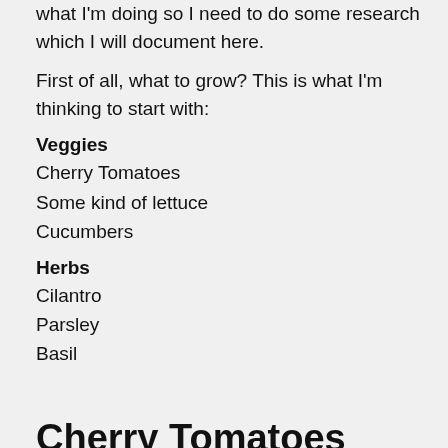what I'm doing so I need to do some research which I will document here.
First of all, what to grow? This is what I'm thinking to start with:
Veggies
Cherry Tomatoes
Some kind of lettuce
Cucumbers
Herbs
Cilantro
Parsley
Basil
Cherry Tomatoes